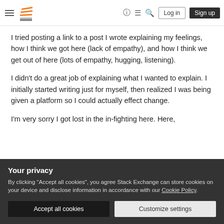Stack Exchange — hamburger menu, logo, help, chat, search, Log in, Sign up
I tried posting a link to a post I wrote explaining my feelings, how I think we got here (lack of empathy), and how I think we get out of here (lots of empathy, hugging, listening).
I didn't do a great job of explaining what I wanted to explain. I initially started writing just for myself, then realized I was being given a platform so I could actually effect change.
I'm very sorry I got lost in the in-fighting here. Here,
[Figure (screenshot): Privacy cookie consent banner with dark background. Title: 'Your privacy'. Body text: 'By clicking "Accept all cookies", you agree Stack Exchange can store cookies on your device and disclose information in accordance with our Cookie Policy.' Two buttons: 'Accept all cookies' (dark) and 'Customize settings' (light).]
Completely rewrite my article to try to reach you,